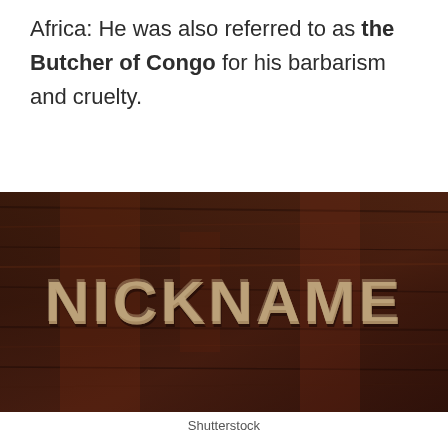Africa: He was also referred to as the Butcher of Congo for his barbarism and cruelty.
[Figure (photo): A dark wood texture background with raised wooden letters spelling NICKNAME in a distressed, aged style.]
Shutterstock